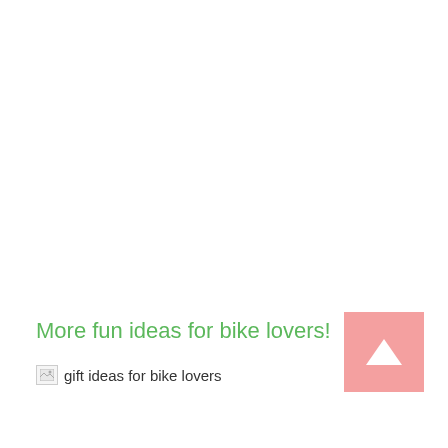More fun ideas for bike lovers!
[Figure (other): Broken image placeholder with alt text 'gift ideas for bike lovers']
[Figure (other): Pink square button with white upward-pointing triangle arrow (scroll-to-top button)]